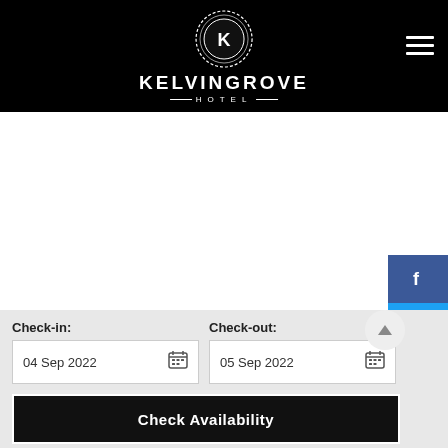[Figure (logo): Kelvingrove Hotel logo — circular emblem with letter K in center, decorative border, white on black background. Hotel name KELVINGROVE with HOTEL underneath in white text.]
Check-in: 04 Sep 2022
Check-out: 05 Sep 2022
Check Availability